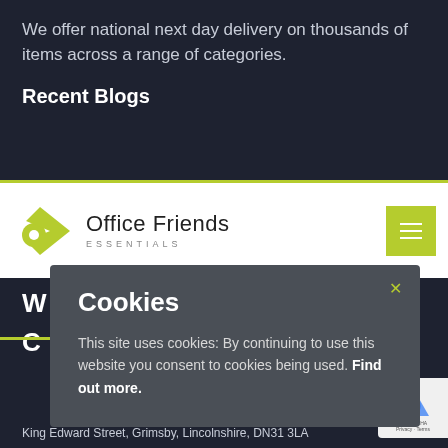We offer national next day delivery on thousands of items across a range of categories.
Recent Blogs
[Figure (logo): Office Friends Essentials logo with green diamond/circle icon and text]
Cookies
This site uses cookies: By continuing to use this website you consent to cookies being used. Find out more.
King Edward Street, Grimsby, Lincolnshire, DN31 3LA